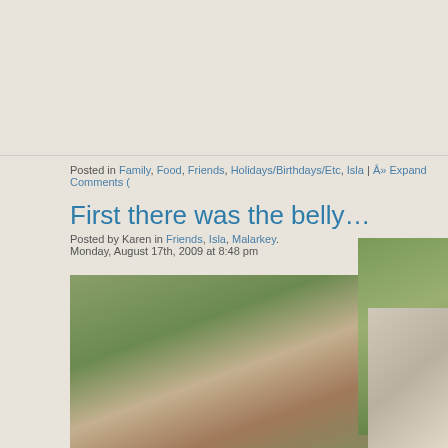Posted in Family, Food, Friends, Holidays/Birthdays/Etc, Isla | Â» Expand Comments (
First there was the belly…
Posted by Karen in Friends, Isla, Malarkey.
Monday, August 17th, 2009 at 8:48 pm
[Figure (photo): Couple outdoors, pregnant woman and partner looking at belly, garden background]
We asked our good friend and awesome photographer Peter to help us document my belly.  Here are some of our favorites.
[Figure (photo): Outdoor nature photo, green bushes/plants, partially visible]
[Figure (photo): Pregnant woman with bare belly and partner, close-up, outdoor setting]
[Figure (photo): Partially visible person, right edge of page]